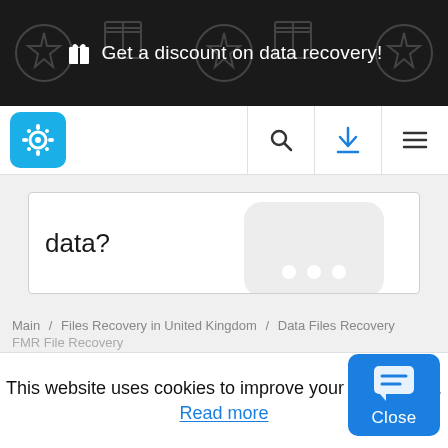🎁 Get a discount on data recovery!
[Figure (screenshot): Navigation bar with gear/settings logo icon in teal, search icon, blue download icon, and hamburger menu icon]
data?
Main / Files Recovery in United Kingdom / Data Files Recovery
FMR File Recovery
This website uses cookies to improve your experience.
Read more
[Figure (screenshot): Blue chat/close button widget in bottom right corner]